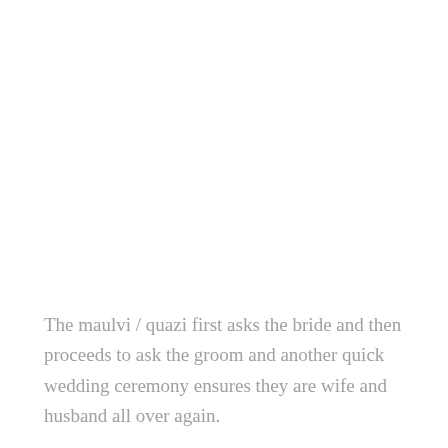The maulvi / quazi first asks the bride and then proceeds to ask the groom and another quick wedding ceremony ensures they are wife and husband all over again.